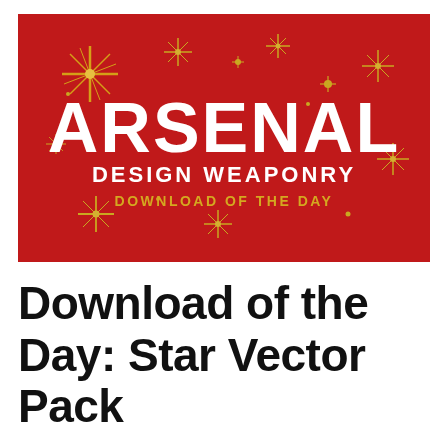[Figure (illustration): Arsenal Design Weaponry – Download of the Day banner. Red background with golden star burst/sparkle vector illustrations scattered throughout. Large white bold text 'ARSENAL' in blocky stencil font, below it 'DESIGN WEAPONRY' in white, and below that 'DOWNLOAD OF THE DAY' in golden/yellow text.]
Download of the Day: Star Vector Pack